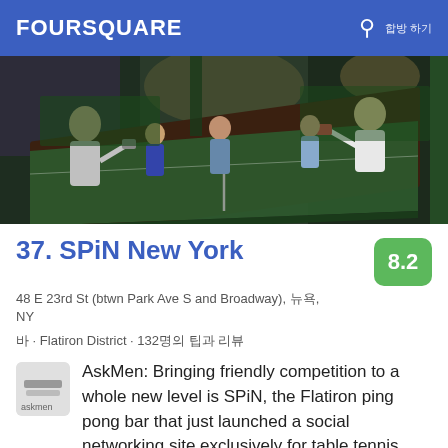FOURSQUARE
[Figure (photo): Indoor ping pong / table tennis venue with several people playing, dark lighting with green tables visible]
37. SPiN New York
8.2
48 E 23rd St (btwn Park Ave S and Broadway), 뉴욕, NY
바 · Flatiron District · 132명의 팁과 리뷰
AskMen: Bringing friendly competition to a whole new level is SPiN, the Flatiron ping pong bar that just launched a social networking site exclusively for table tennis enthusiasts. 팁 더 보기